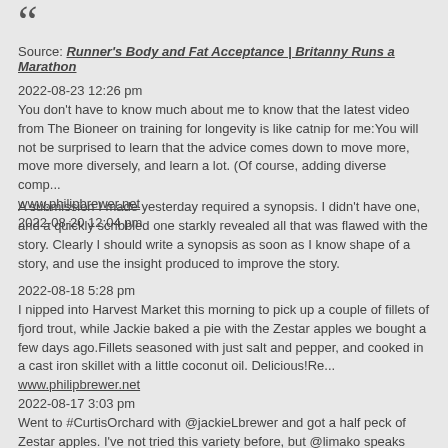[Figure (illustration): Large decorative quotation mark icon in dark gray]
Source: Runner's Body and Fat Acceptance | Britanny Runs a Marathon
2022-08-23 12:26 pm
You don't have to know much about me to know that the latest video from The Bioneer on training for longevity is like catnip for me:You will not be surprised to learn that the advice comes down to move more, move more diversely, and learn a lot. (Of course, adding diverse comp...
www.philipbrewer.net
2022-08-20 12:04 pm
A submission I made yesterday required a synopsis. I didn't have one, and a quickly scribbled one starkly revealed all that was flawed with the story. Clearly I should write a synopsis as soon as I know shape of a story, and use the insight produced to improve the story.
2022-08-18 5:28 pm
I nipped into Harvest Market this morning to pick up a couple of fillets of fjord trout, while Jackie baked a pie with the Zestar apples we bought a few days ago.Fillets seasoned with just salt and pepper, and cooked in a cast iron skillet with a little coconut oil. Delicious!Re...
www.philipbrewer.net
2022-08-17 3:03 pm
Went to #CurtisOrchard with @jackieLbrewer and got a half peck of Zestar apples. I've not tried this variety before, but @limako speaks highly of them.Very nice. They taste more like I remember apples tasting in my youth than modern varieties like Honey Crisp, Cosmic Crisp, or even ...
www.philipbrewer.net
2022-08-13 11:40 am